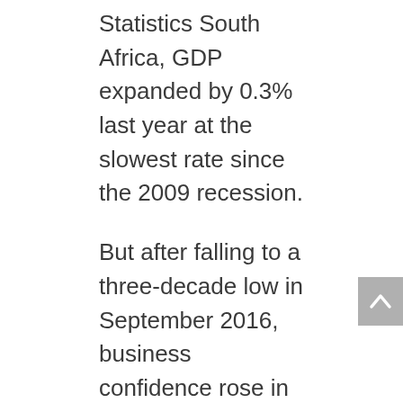Statistics South Africa, GDP expanded by 0.3% last year at the slowest rate since the 2009 recession.
But after falling to a three-decade low in September 2016, business confidence rose in the following three months. The Purchasing Managers' Index (PMI) was above 50 points in January and February 2017 and according to national treasury forecasts, economic growth will probably rebound to 1.3% in 2017.
Christo Els, senior partner at Webber Wentzel, says that the 2017 investment outlook remains cautious and fluctuations in deal-making activity over the course of the...